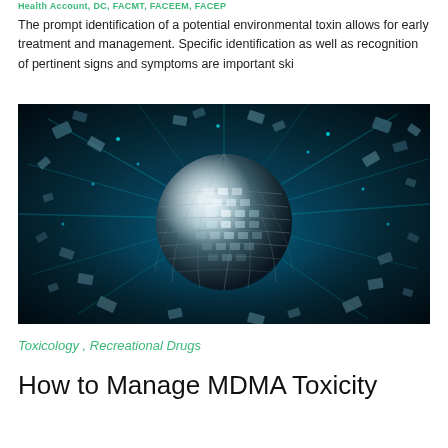Health Account, DC, FACMT, FACEEM, FACEP
The prompt identification of a potential environmental toxin allows for early treatment and management. Specific identification as well as recognition of pertinent signs and symptoms are important ski
[Figure (photo): A dramatic image of a disco/mirror ball exploding or shattering, with blue-teal light rays and glass/mirror fragments flying outward against a dark background.]
Toxicology , Recreational Drugs
How to Manage MDMA Toxicity